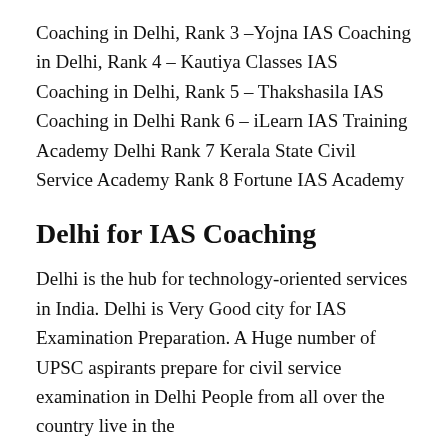Coaching in Delhi, Rank 3 –Yojna IAS Coaching in Delhi, Rank 4 – Kautiya Classes IAS Coaching in Delhi, Rank 5 – Thakshasila IAS Coaching in Delhi Rank 6 – iLearn IAS Training Academy Delhi Rank 7 Kerala State Civil Service Academy Rank 8 Fortune IAS Academy
Delhi for IAS Coaching
Delhi is the hub for technology-oriented services in India. Delhi is Very Good city for IAS Examination Preparation. A Huge number of UPSC aspirants prepare for civil service examination in Delhi People from all over the country live in the